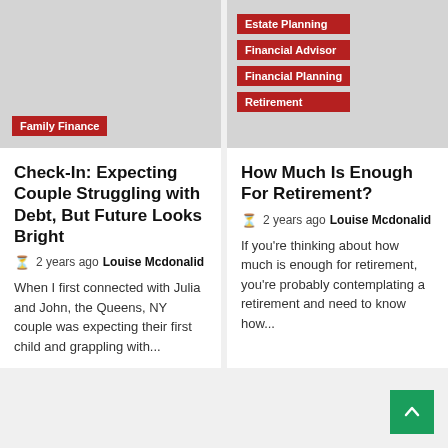[Figure (photo): Gray placeholder image for article about expecting couple and debt]
Family Finance
Check-In: Expecting Couple Struggling with Debt, But Future Looks Bright
2 years ago  Louise Mcdonalid
When I first connected with Julia and John, the Queens, NY couple was expecting their first child and grappling with...
[Figure (photo): Gray placeholder image for article about retirement planning]
Estate Planning
Financial Advisor
Financial Planning
Retirement
How Much Is Enough For Retirement?
2 years ago  Louise Mcdonalid
If you're thinking about how much is enough for retirement, you're probably contemplating a retirement and need to know how...